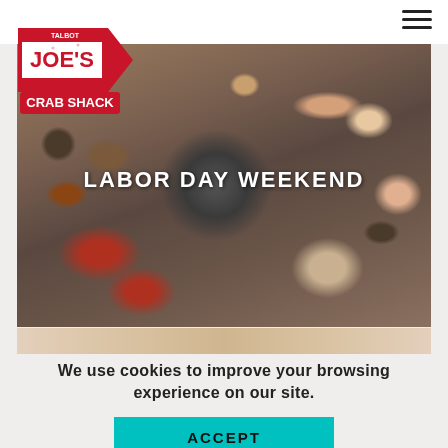[Figure (logo): Joe's Crab Shack logo — red arrow sign with white text]
[Figure (photo): Hero image showing seafood spread including lobster, clams, mussels, crab legs, sausage, a large round metal pot at center, on a white wood table. Large white bold text overlay reads LABOR DAY WEEKEND.]
We use cookies to improve your browsing experience on our site.
ACCEPT